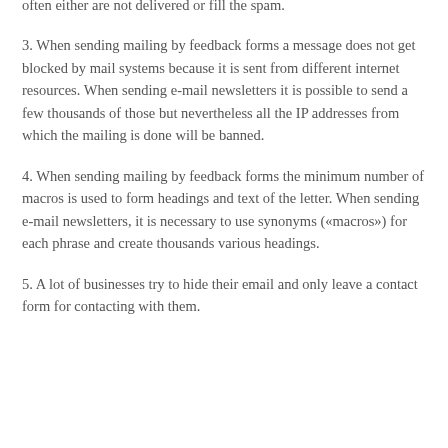often either are not delivered or fill the spam.
3. When sending mailing by feedback forms a message does not get blocked by mail systems because it is sent from different internet resources. When sending e-mail newsletters it is possible to send a few thousands of those but nevertheless all the IP addresses from which the mailing is done will be banned.
4. When sending mailing by feedback forms the minimum number of macros is used to form headings and text of the letter. When sending e-mail newsletters, it is necessary to use synonyms («macros») for each phrase and create thousands various headings.
5. A lot of businesses try to hide their email and only leave a contact form for contacting with them.